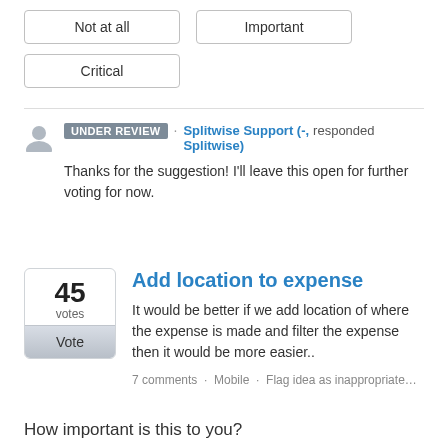Not at all
Important
Critical
UNDER REVIEW · Splitwise Support (-, Splitwise) responded
Thanks for the suggestion! I'll leave this open for further voting for now.
Add location to expense
It would be better if we add location of where the expense is made and filter the expense then it would be more easier..
7 comments · Mobile · Flag idea as inappropriate…
How important is this to you?